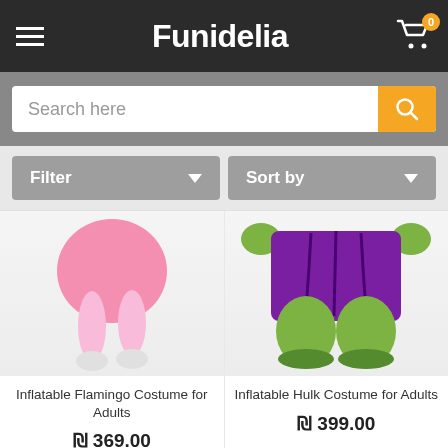Funidelia
Search here
Filter
Sort by
[Figure (photo): Inflatable Flamingo Costume for Adults - pink inflatable costume, back view showing legs]
Inflatable Flamingo Costume for Adults
₪ 369.00
[Figure (photo): Inflatable Hulk Costume for Adults - purple and green inflatable costume, front view showing legs]
Inflatable Hulk Costume for Adults
₪ 399.00
DELIVERED BY ORDER...
We use our own and third party cookies in order to offer you a better service. You accept that by staying at our site. More info
One size